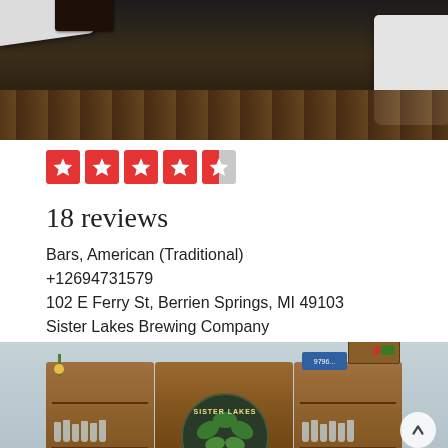[Figure (photo): Top cropped photo of food/drinks on a dark wooden table, with white plate and cup visible]
[Figure (infographic): Yelp star rating showing 4.5 out of 5 stars (five star icons, last one half-filled), red squares with white stars]
18 reviews
Bars, American (Traditional)
+12694731579
102 E Ferry St, Berrien Springs, MI 49103
Sister Lakes Brewing Company
[Figure (photo): Interior photo of Sister Lakes Brewing Company showing a wooden bar/shelf unit with glasses, with the Sister Lakes Brewing Company logo sign in the center]